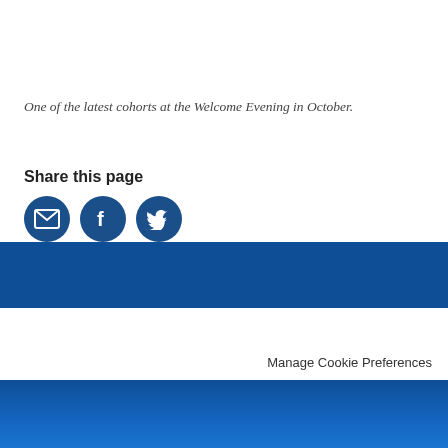One of the latest cohorts at the Welcome Evening in October.
Share this page
[Figure (infographic): Three circular social share buttons: email (envelope icon), Facebook (f icon), Twitter (bird icon), all dark blue circles with white icons]
Manage Cookie Preferences